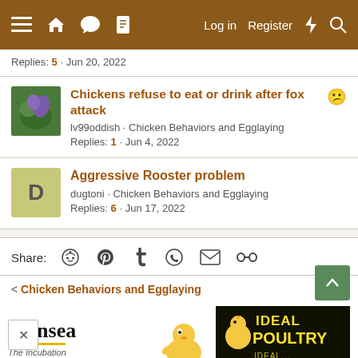Menu Home Forums Log in Register
Replies: 5 · Jun 20, 2022
Chickens refuse to eat or drink after fox attack
lv99oddish · Chicken Behaviors and Egglaying
Replies: 1 · Jun 4, 2022
Aggressive Rooster problem
dugtoni · Chicken Behaviors and Egglaying
Replies: 6 · Jun 17, 2022
Share:
< Chicken Behaviors and Egglaying
[Figure (screenshot): Brinsea The Incubation Specialists advertisement with chick image]
[Figure (screenshot): Ideal Poultry Est. 1937 advertisement]
AdorStore